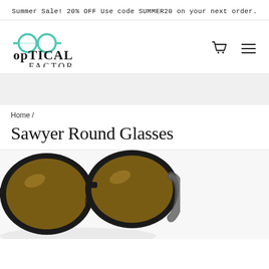Summer Sale! 20% OFF Use code SUMMER20 on your next order.
[Figure (logo): Optical Factor logo with teal glasses icon and text]
Home /
Sawyer Round Glasses
[Figure (photo): Close-up photo of black round glasses (Sawyer Round Glasses) with brown tinted lenses, shown at an angle]